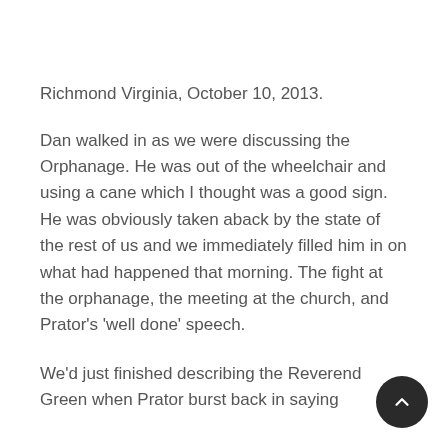Richmond Virginia, October 10, 2013.
Dan walked in as we were discussing the Orphanage. He was out of the wheelchair and using a cane which I thought was a good sign. He was obviously taken aback by the state of the rest of us and we immediately filled him in on what had happened that morning. The fight at the orphanage, the meeting at the church, and Prator’s ‘well done’ speech.
We’d just finished describing the Reverend Green when Prator burst back in saying